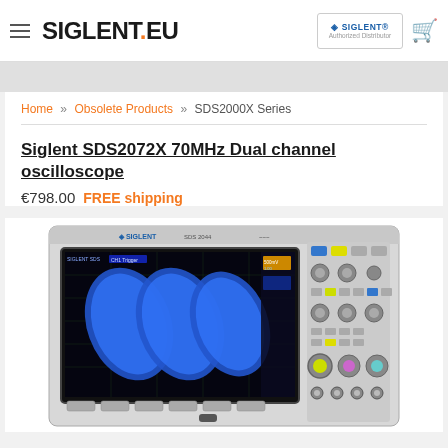SIGLENT.EU — Authorized Distributor
Home » Obsolete Products » SDS2000X Series
Siglent SDS2072X 70MHz Dual channel oscilloscope
€798.00 FREE shipping
[Figure (photo): Siglent SDS2072X oscilloscope showing screen with blue Lissajous waveform pattern and front panel controls]